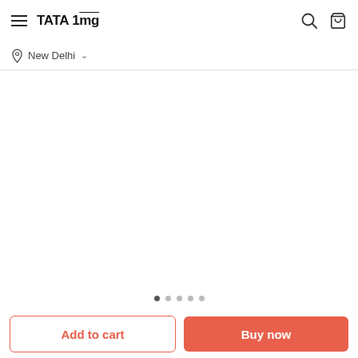TATA 1mg
New Delhi
[Figure (photo): Product image area (blank/loading) for Kerala Ayurveda Mahamanjishtadi Kwath]
Kerala Ayurveda Mahamanjishtadi Kwath
Add to cart
Buy now